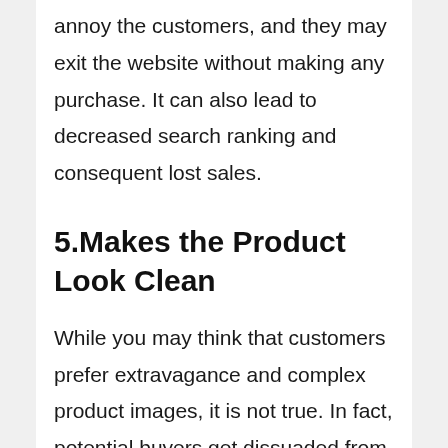annoy the customers, and they may exit the website without making any purchase. It can also lead to decreased search ranking and consequent lost sales.
5.Makes the Product Look Clean
While you may think that customers prefer extravagance and complex product images, it is not true. In fact, potential buyers get dissuaded from purchasing when the product image is too distracting.
Using imgkits you can quickly remove the